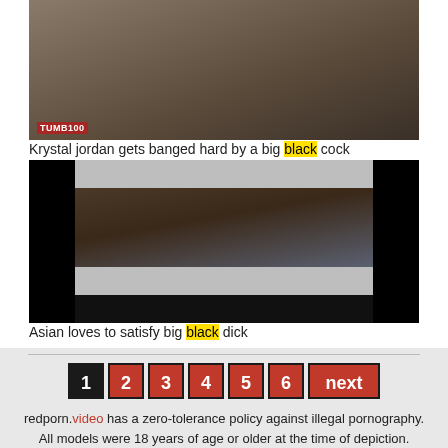[Figure (photo): Thumbnail image showing adult content - partially obscured]
Krystal jordan gets banged hard by a big black cock
[Figure (photo): Thumbnail image showing adult content - partially obscured with black bars]
Asian loves to satisfy big black dick
1 2 3 4 5 6 next
redporn.video has a zero-tolerance policy against illegal pornography. All models were 18 years of age or older at the time of depiction.